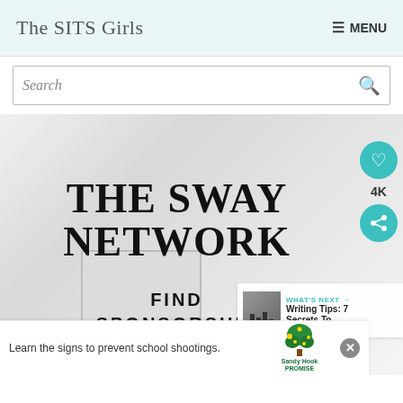The SITS Girls  MENU
Search
[Figure (screenshot): Hero image with white minimalist office/desk background. Large bold serif text reads 'THE SWAY NETWORK' and below in sans-serif bold 'FIND SPONSORSHIP'. Social sidebar with teal heart button showing '4K' and teal share button. 'WHAT'S NEXT' bar with thumbnail and 'Writing Tips: 7 Secrets To...' text. Bottom ad banner: 'Learn the signs to prevent school shootings.' with Sandy Hook Promise tree logo.]